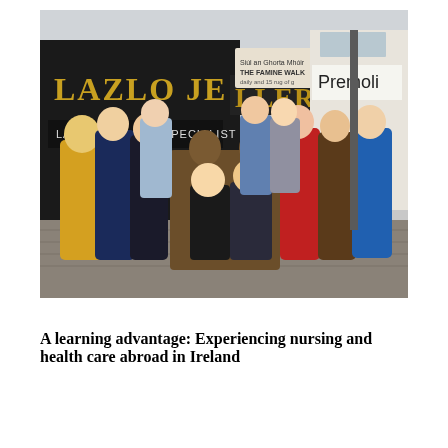[Figure (photo): Group photo of approximately 15-18 people posing around a bronze statue/sculpture on a cobblestone street in Galway, Ireland. Behind them are storefronts including 'LAZLO JE[WELLERS]' and 'Premoli'. A sign for 'The Famine Walk' is visible. The group is dressed in winter/autumn clothing.]
A learning advantage: Experiencing nursing and health care abroad in Ireland